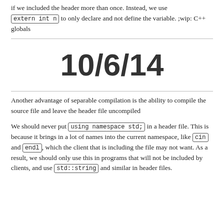if we included the header more than once. Instead, we use extern int n to only declare and not define the variable. ;wip: C++ globals
10/6/14
Another advantage of separable compilation is the ability to compile the source file and leave the header file uncompiled
We should never put using namespace std; in a header file. This is because it brings in a lot of names into the current namespace, like cin and endl, which the client that is including the file may not want. As a result, we should only use this in programs that will not be included by clients, and use std::string and similar in header files.